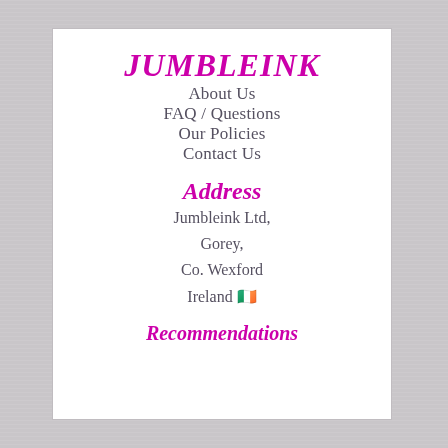JUMBLEINK
About Us
FAQ / Questions
Our Policies
Contact Us
Address
Jumbleink Ltd,
Gorey,
Co. Wexford
Ireland 🇮🇪
Recommendations